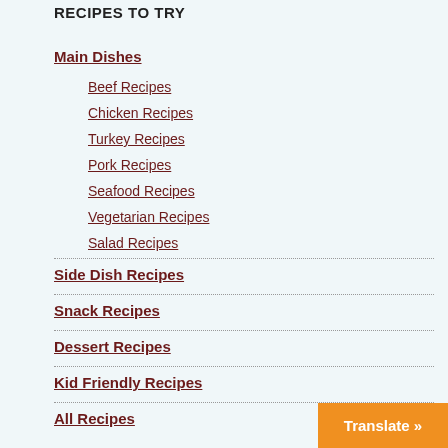RECIPES TO TRY
Main Dishes
Beef Recipes
Chicken Recipes
Turkey Recipes
Pork Recipes
Seafood Recipes
Vegetarian Recipes
Salad Recipes
Side Dish Recipes
Snack Recipes
Dessert Recipes
Kid Friendly Recipes
All Recipes